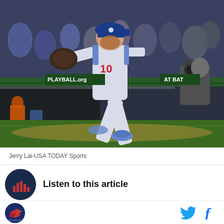[Figure (photo): Baseball player wearing LA Dodgers uniform #10 fielding at third base during a game, with crowd in background]
Jerry Lai-USA TODAY Sports
Listen to this article
[Figure (logo): Website logo - circular icon with bird/cardinal and site branding]
[Figure (illustration): Twitter bird icon and Facebook f icon social media sharing buttons]